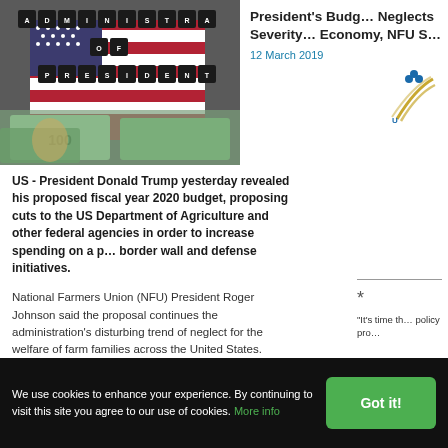[Figure (photo): Photo of scrabble letter tiles spelling 'THE ADMINISTRATION OF PRESIDENT' on a US flag background with dollar bills]
President's Budget Neglects Severity of Farm Economy, NFU S…
12 March 2019
US - President Donald Trump yesterday revealed his proposed fiscal year 2020 budget, proposing cuts to the US Department of Agriculture and other federal agencies in order to increase spending on a p… border wall and defense initiatives.
National Farmers Union (NFU) President Roger Johnson said the proposal continues the administration's disturbing trend of neglect for the welfare of farm families across the United States.
"It's time th… policy pro…
We use cookies to enhance your experience. By continuing to visit this site you agree to our use of cookies. More info